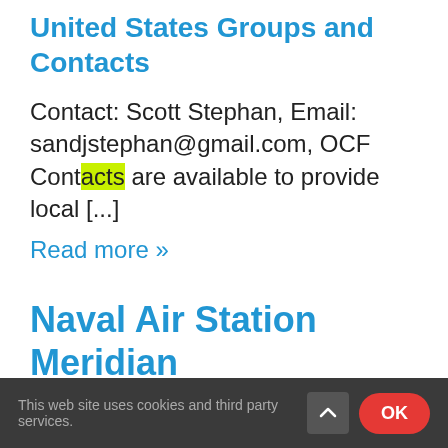United States Groups and Contacts
Contact: Scott Stephan, Email: sandjstephan@gmail.com, OCF Contacts are available to provide local [...]
Read more »
Naval Air Station Meridian
This website uses cookies and third party services.